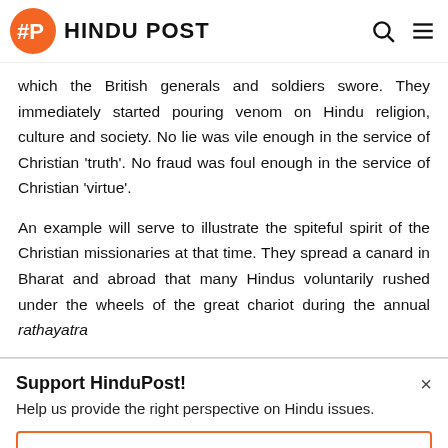HINDU POST
which the British generals and soldiers swore. They immediately started pouring venom on Hindu religion, culture and society. No lie was vile enough in the service of Christian 'truth'. No fraud was foul enough in the service of Christian 'virtue'.
An example will serve to illustrate the spiteful spirit of the Christian missionaries at that time. They spread a canard in Bharat and abroad that many Hindus voluntarily rushed under the wheels of the great chariot during the annual rathayatra
Support HinduPost!
Help us provide the right perspective on Hindu issues.
Support HinduPost Operations!